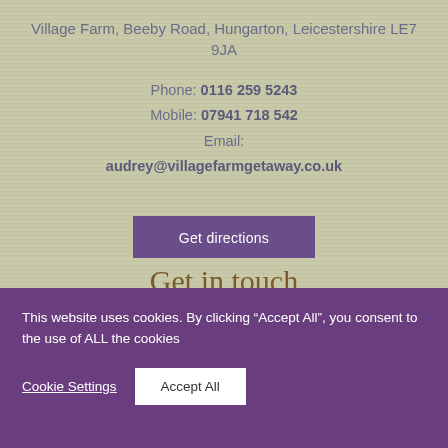Village Farm, Beeby Road, Hungarton, Leicestershire LE7 9JA
Phone: 0116 259 5243
Mobile: 07941 718 542
Email:
audrey@villagefarmgetaway.co.uk
Get directions
Get in touch
This website uses cookies. By clicking “Accept All”, you consent to the use of ALL the cookies
Cookie Settings
Accept All